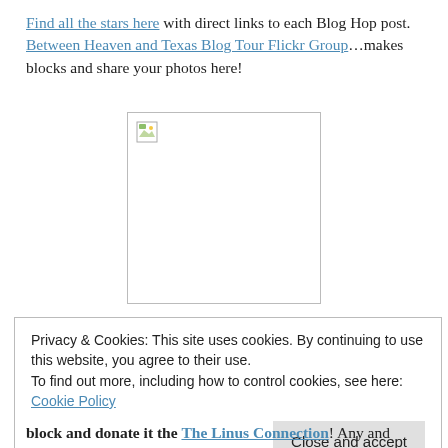Find all the stars here with direct links to each Blog Hop post. Between Heaven and Texas Blog Tour Flickr Group…makes blocks and share your photos here!
[Figure (photo): Broken image placeholder (white rectangle with small broken image icon in top-left corner)]
Privacy & Cookies: This site uses cookies. By continuing to use this website, you agree to their use.
To find out more, including how to control cookies, see here: Cookie Policy
[Close and accept button]
block and donate it the The Linus Connection! Any and